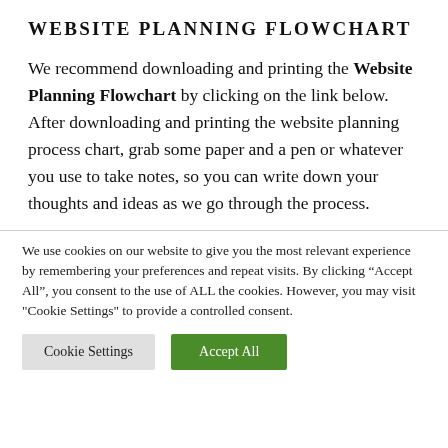WEBSITE PLANNING FLOWCHART
We recommend downloading and printing the Website Planning Flowchart by clicking on the link below. After downloading and printing the website planning process chart, grab some paper and a pen or whatever you use to take notes, so you can write down your thoughts and ideas as we go through the process.
We use cookies on our website to give you the most relevant experience by remembering your preferences and repeat visits. By clicking “Accept All”, you consent to the use of ALL the cookies. However, you may visit "Cookie Settings" to provide a controlled consent.
Cookie Settings | Accept All